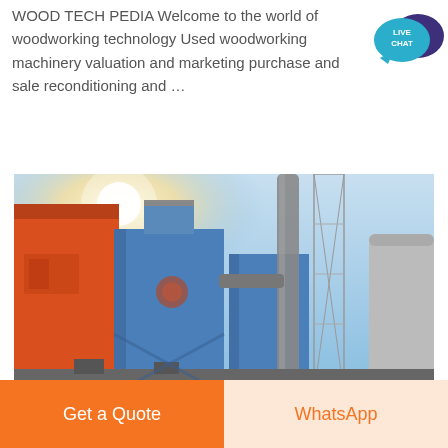WOOD TECH PEDIA Welcome to the world of woodworking technology Used woodworking machinery valuation and marketing purchase and sale reconditioning and …
[Figure (photo): Industrial facility photo showing large orange and blue dust collection or filtration units with pipes and scaffolding tower against a blue sky with bright sunlight flare]
Get a Quote
WhatsApp